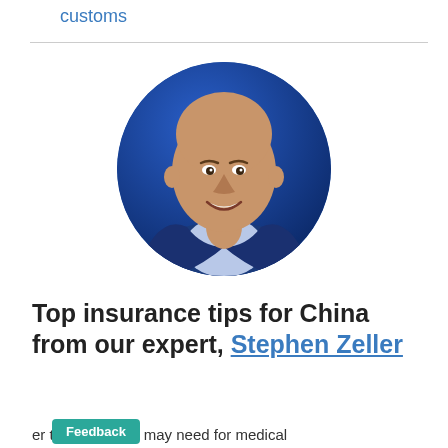customs
[Figure (photo): Circular headshot photo of Stephen Zeller, a bald man smiling, wearing a dark blue blazer over a light blue shirt, against a blue background.]
Top insurance tips for China from our expert, Stephen Zeller
er the cover you may need for medical